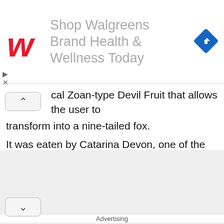[Figure (screenshot): Walgreens advertisement banner with red Walgreens logo W, text 'Shop Walgreens Brand Health & Wellness Today' in gray, and a blue diamond navigation icon on the right]
cal Zoan-type Devil Fruit that allows the user to transform into a nine-tailed fox.
It was eaten by Catarina Devon, one of the Ten Titanic Captains, and the captain of the Sixth Ship of the Blackbeard Pirates.
The greatest strength of this fruit is that the user is also capable of transforming into other people, ving them to impersonate them. The clothing of
Advertising